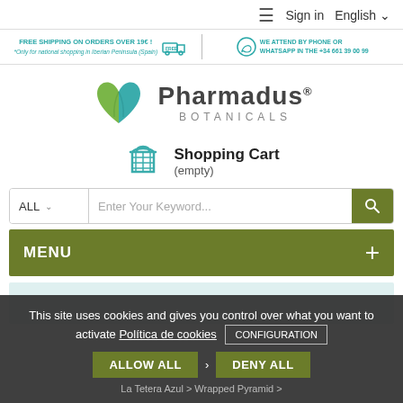≡  Sign in   English ∨
FREE SHIPPING ON ORDERS OVER 19€ ! *Only for national shopping in Iberian Peninsula (Spain) | WE ATTEND BY PHONE OR WHATSAPP IN THE +34 661 39 00 99
[Figure (logo): Pharmadus Botanicals logo with green and teal heart-leaf icon]
Shopping Cart (empty)
ALL ∨   Enter Your Keyword...
MENU +
This site uses cookies and gives you control over what you want to activate Política de cookies   CONFIGURATION   ALLOW ALL   DENY ALL
La Tetera Azul > Wrapped Pyramid >